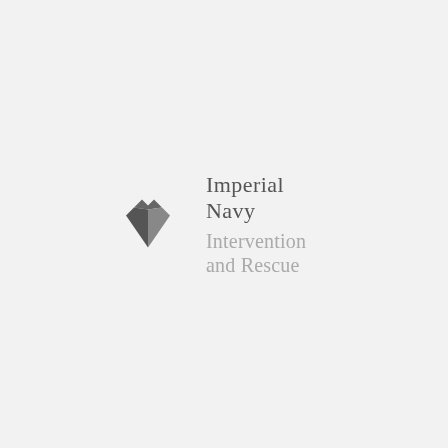[Figure (logo): A stylized dark gray gemstone/diamond shape logo resembling a bird or gem with facets, used as the Imperial Navy Intervention and Rescue emblem]
Imperial Navy
Intervention and Rescue